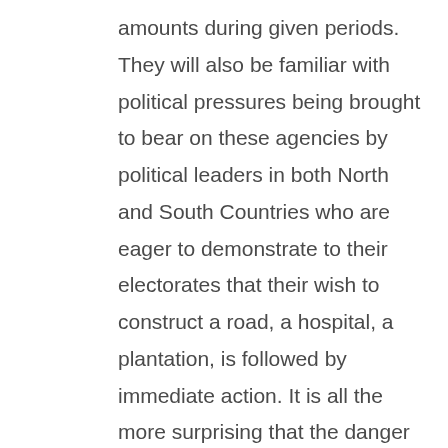amounts during given periods. They will also be familiar with political pressures being brought to bear on these agencies by political leaders in both North and South Countries who are eager to demonstrate to their electorates that their wish to construct a road, a hospital, a plantation, is followed by immediate action. It is all the more surprising that the danger of these pressures for project/program/policy success is so little recognized or, if it is, so little is done to resist them. It the case of